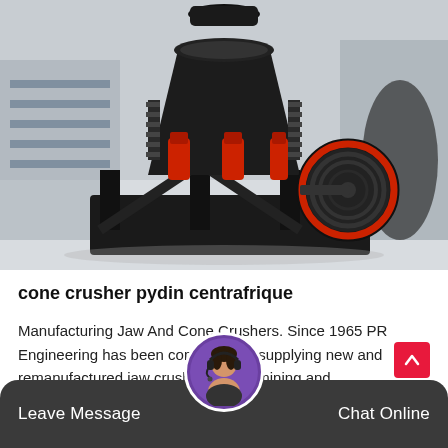[Figure (photo): Large black cone crusher machine with red hydraulic cylinders, mounted on a heavy steel frame, with a black and red pulley wheel on the right side, photographed in an industrial warehouse setting.]
cone crusher pydin centrafrique
Manufacturing Jaw And Cone Crushers. Since 1965 PR Engineering has been committed to supplying new and remanufactured jaw crushers to the mining and...
Release Time:01-18
Leave Message   Chat Online